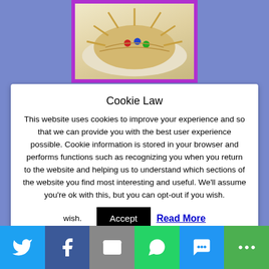[Figure (photo): Cookie or bread-like food item with decorative elements in a purple-bordered frame at top of page]
Cookie Law
This website uses cookies to improve your experience and so that we can provide you with the best user experience possible. Cookie information is stored in your browser and performs functions such as recognizing you when you return to the website and helping us to understand which sections of the website you find most interesting and useful. We'll assume you're ok with this, but you can opt-out if you wish.  Accept  Read More
SHOP MY SHOPS!
[Figure (infographic): Social sharing bar with Twitter, Facebook, Email, WhatsApp, SMS, and More share buttons]